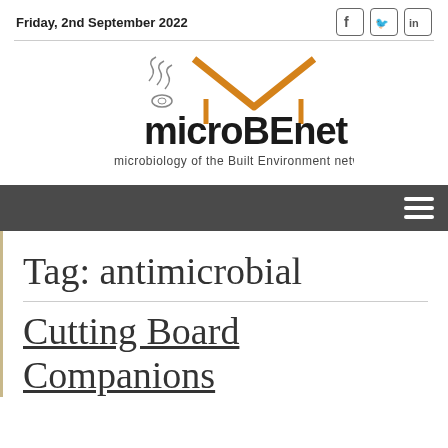Friday, 2nd September 2022
[Figure (logo): microBEnet logo — stylized house outline in orange above the text 'microBEnet' with tagline 'microbiology of the Built Environment network']
Tag: antimicrobial
Cutting Board Companions